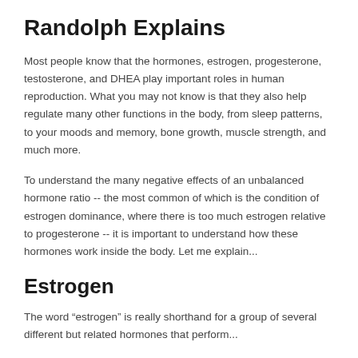Randolph Explains
Most people know that the hormones, estrogen, progesterone, testosterone, and DHEA play important roles in human reproduction. What you may not know is that they also help regulate many other functions in the body, from sleep patterns, to your moods and memory, bone growth, muscle strength, and much more.
To understand the many negative effects of an unbalanced hormone ratio -- the most common of which is the condition of estrogen dominance, where there is too much estrogen relative to progesterone -- it is important to understand how these hormones work inside the body. Let me explain...
Estrogen
The word “estrogen” is really shorthand for a group of several different but related hormones that perform...